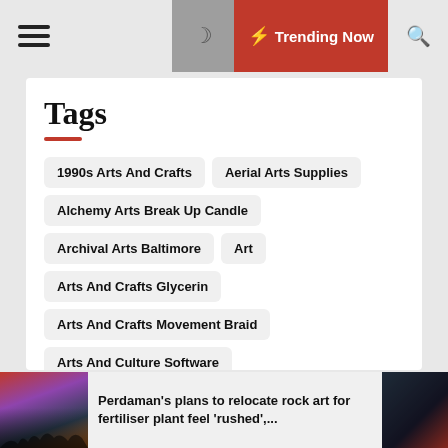☰  🌙  ⚡ Trending Now  🔍
Tags
1990s Arts And Crafts
Aerial Arts Supplies
Alchemy Arts Break Up Candle
Archival Arts Baltimore
Art
Arts And Crafts Glycerin
Arts And Crafts Movement Braid
Arts And Culture Software
Arts Apartments Of South Austin
Arts Dividion Ucsc
Arts Education Network Sonoma County
Arts Festivals
Arts Grant For Disability
Perdaman's plans to relocate rock art for fertiliser plant feel 'rushed',...